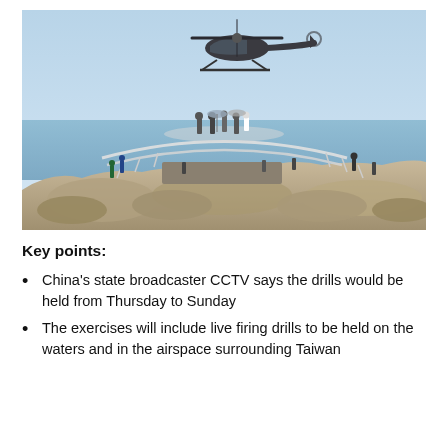[Figure (photo): A military helicopter flies over a rocky coastal observation platform crowded with people, with blue sea and hazy sky in the background. People stand on a curved white railing bridge on the rocky outcrop.]
Key points:
China's state broadcaster CCTV says the drills would be held from Thursday to Sunday
The exercises will include live firing drills to be held on the waters and in the airspace surrounding Taiwan